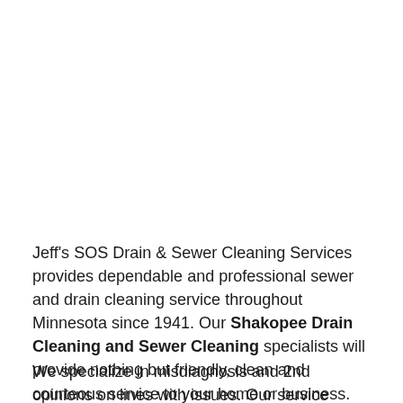Jeff's SOS Drain & Sewer Cleaning Services provides dependable and professional sewer and drain cleaning service throughout Minnesota since 1941. Our Shakopee Drain Cleaning and Sewer Cleaning specialists will provide nothing but friendly, clean and courteous service to your home or business. Our trucks and fully equipped and insured with excellent BBB ratings.
We specialize in misdiagnosis and 2nd opinions on lines with issues. Our service technicians are prompt, reasonable, reliable,